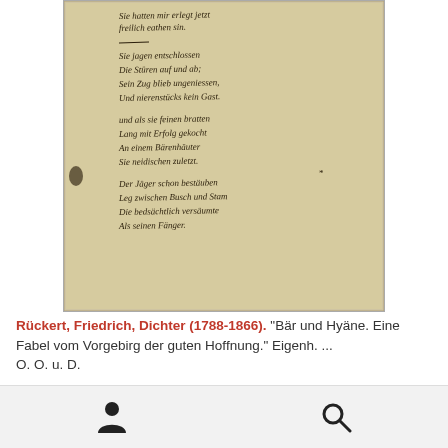[Figure (photo): A handwritten manuscript page with German cursive script (old German handwriting style), showing several stanzas of a poem. The paper is aged/yellowed with a beige-tan color. The writing appears to be in dark ink.]
Rückert, Friedrich, Dichter (1788-1866). "Bär und Hyäne. Eine Fabel vom Vorgebirg der guten Hoffnung." Eigenh. ... O. O. u. D.
€ 4.500,00